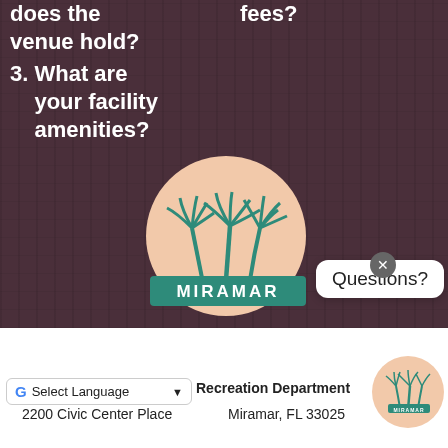does the venue hold?
fees?
3. What are your facility amenities?
[Figure (logo): Miramar city logo: palm trees on a peach/beige circle with 'MIRAMAR' in teal banner below]
Questions?
[Figure (logo): Small Miramar logo circle in bottom right corner]
Select Language
Recreation Department
2200 Civic Center Place
Miramar, FL 33025